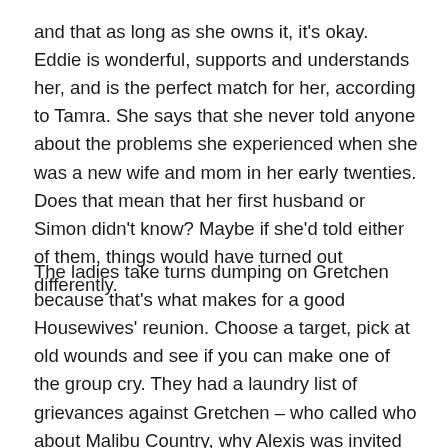and that as long as she owns it, it's okay.  Eddie is wonderful, supports and understands her, and is the perfect match for her, according to Tamra.  She says that she never told anyone about the problems she experienced when she was a new wife and mom in her early twenties.  Does that mean that her first husband or Simon didn't know?  Maybe if she'd told either of them, things would have turned out differently.
The ladies take turns dumping on Gretchen because that's what makes for a good Housewives' reunion.  Choose a target, pick at old wounds and see if you can make one of the group cry.   They had a laundry list of grievances against Gretchen – who called who about Malibu Country, why Alexis was invited to Tamra's wedding dress shopping trip and how Gretchen came up with the proposal to Slade